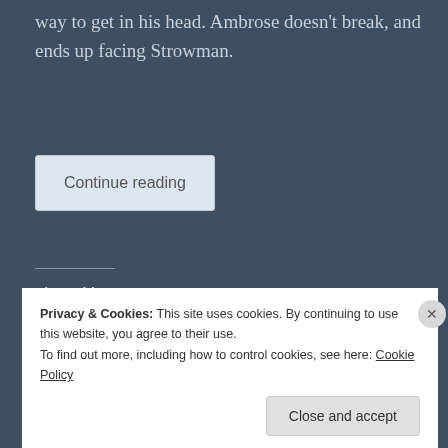way to get in his head. Ambrose doesn't break, and ends up facing Strowman.
Continue reading
Share this:
Twitter
Facebook
Like
Be the first to like this.
Privacy & Cookies: This site uses cookies. By continuing to use this website, you agree to their use. To find out more, including how to control cookies, see here: Cookie Policy
Close and accept